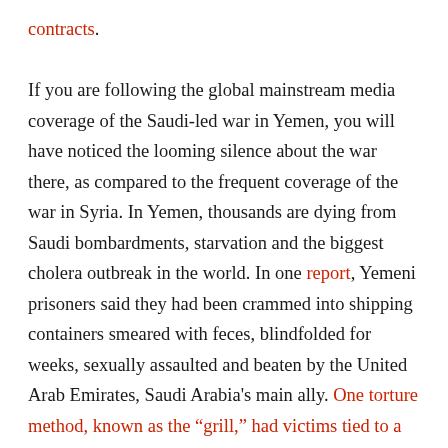contracts. If you are following the global mainstream media coverage of the Saudi-led war in Yemen, you will have noticed the looming silence about the war there, as compared to the frequent coverage of the war in Syria. In Yemen, thousands are dying from Saudi bombardments, starvation and the biggest cholera outbreak in the world. In one report, Yemeni prisoners said they had been crammed into shipping containers smeared with feces, blindfolded for weeks, sexually assaulted and beaten by the United Arab Emirates, Saudi Arabia's main ally. One torture method, known as the “grill,” had victims tied to a spit like a roast and spun in a circle of fire. Al Jazeera has been the only